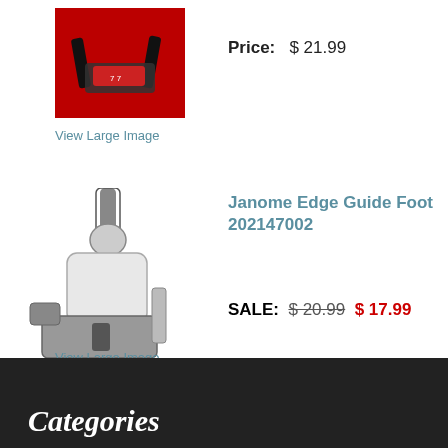[Figure (photo): Product image of a sewing machine foot/attachment on red background]
Price:  $ 21.99
View Large Image
Janome Edge Guide Foot 202147002
[Figure (photo): Product image of Janome Edge Guide Foot 202147002 - metal sewing machine attachment]
SALE:  $ 20.99  $ 17.99
View Large Image
< Previous Page  1  2  3  Next Page >
Categories